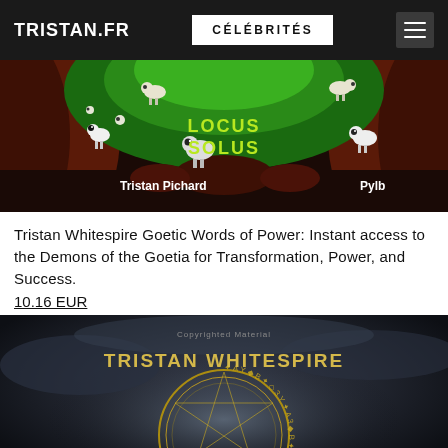TRISTAN.FR | CÉLÉBRITÉS
[Figure (illustration): Book cover illustration for 'Locus Solus' by Tristan Pichard and Pylb, featuring cartoon sheep characters on a dark red and green background. Text shows 'Locus Solus', 'Tristan Pichard', and 'Pylb'.]
Tristan Whitespire Goetic Words of Power: Instant access to the Demons of the Goetia for Transformation, Power, and Success.
10.16 EUR
[Figure (illustration): Book cover for 'Tristan Whitespire' featuring a mystical circular sigil/seal with inscriptions, set against a dark atmospheric background with clouds. Text reads 'Copyrighted Material' and 'TRISTAN WHITESPIRE'.]